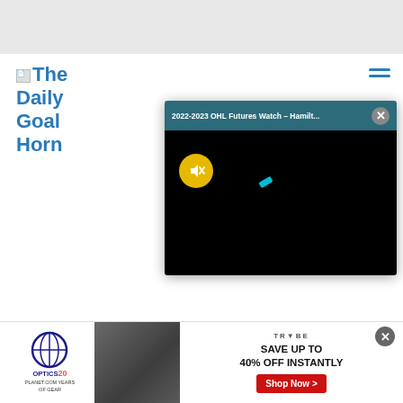[Figure (screenshot): Top gray navigation bar of a website]
The Daily Goal Horn
[Figure (screenshot): Video popup with title '2022-2023 OHL Futures Watch – Hamilt...' showing a black video screen with a muted button (yellow circle with mute icon) and a small cyan element, with a close X button]
[Figure (screenshot): Advertisement banner for Optics Planet 20 Years of Gear and Trybe: Save up to 40% off instantly, with Shop Now button]